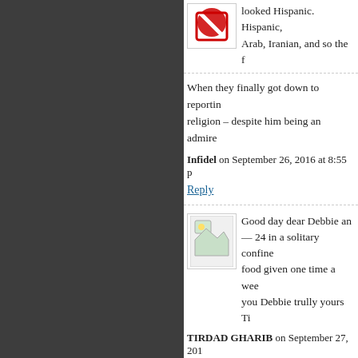looked Hispanic. Hispanic, Arab, Iranian, and so the [cut off]
When they finally got down to reportin... religion – despite him being an admire...
Infidel on September 26, 2016 at 8:55 p...
Reply
Good day dear Debbie an... — 24 in a solitary confine... food given one time a wee... you Debbie trully yours Ti...
TIRDAD GHARIB on September 27, 201...
Reply
I sure hope this doesn't ha... it does, and it is honestly t... mosque will be burnt to th... solution to deal with these...